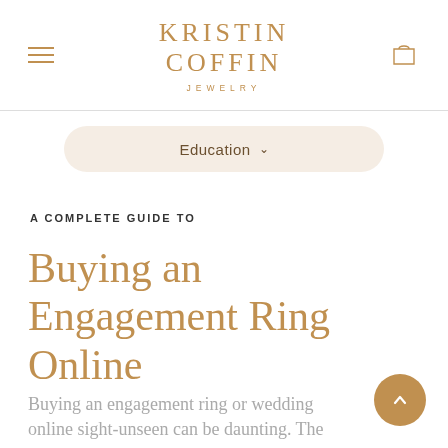KRISTIN COFFIN JEWELRY
Education
A COMPLETE GUIDE TO
Buying an Engagement Ring Online
Buying an engagement ring or wedding online sight-unseen can be daunting. The